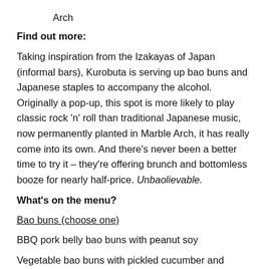Arch
Find out more:
Taking inspiration from the Izakayas of Japan (informal bars), Kurobuta is serving up bao buns and Japanese staples to accompany the alcohol. Originally a pop-up, this spot is more likely to play classic rock 'n' roll than traditional Japanese music, now permanently planted in Marble Arch, it has really come into its own. And there's never been a better time to try it – they're offering brunch and bottomless booze for nearly half-price. Unbaolievable.
What's on the menu?
Bao buns (choose one)
BBQ pork belly bao buns with peanut soy
Vegetable bao buns with pickled cucumber and kimchee